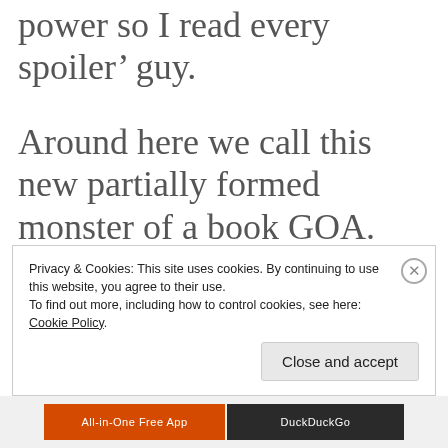power so I read every spoiler' guy.
Around here we call this new partially formed monster of a book GOA. Feel free to be like, “Hey
Privacy & Cookies: This site uses cookies. By continuing to use this website, you agree to their use.
To find out more, including how to control cookies, see here:
Cookie Policy
Close and accept